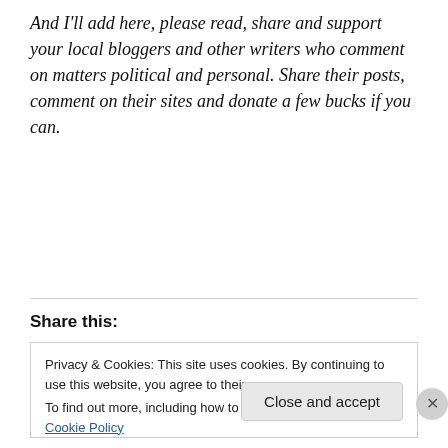And I'll add here, please read, share and support your local bloggers and other writers who comment on matters political and personal. Share their posts, comment on their sites and donate a few bucks if you can.
Share this:
Privacy & Cookies: This site uses cookies. By continuing to use this website, you agree to their use. To find out more, including how to control cookies, see here: Cookie Policy
Close and accept